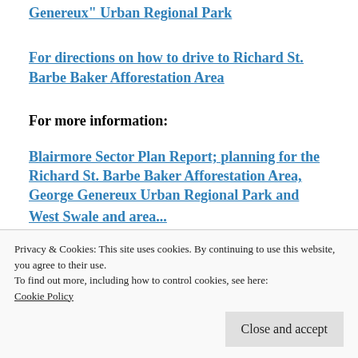Genereux" Urban Regional Park
For directions on how to drive to Richard St. Barbe Baker Afforestation Area
For more information:
Blairmore Sector Plan Report; planning for the Richard St. Barbe Baker Afforestation Area, George Genereux Urban Regional Park and West Swale and area, and the vicinity of Warman, and Martensville, the Town of Osler
Privacy & Cookies: This site uses cookies. By continuing to use this website, you agree to their use.
To find out more, including how to control cookies, see here: Cookie Policy
Close and accept